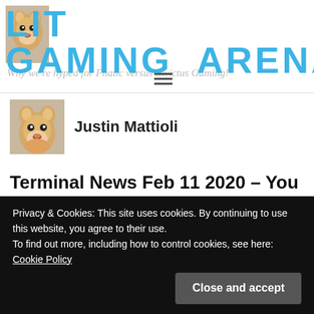LIT GAMING ARENA
Why we're hyped for Fnatic versus Invictus Gaming!
[Figure (photo): Author avatar: Shiba Inu dog photo used as profile picture for Justin Mattioli]
Justin Mattioli
Terminal News Feb 11 2020 – You Haven't Lived Until You've Tasted a Switch Cartridge
Privacy & Cookies: This site uses cookies. By continuing to use this website, you agree to their use.
To find out more, including how to control cookies, see here: Cookie Policy
Close and accept